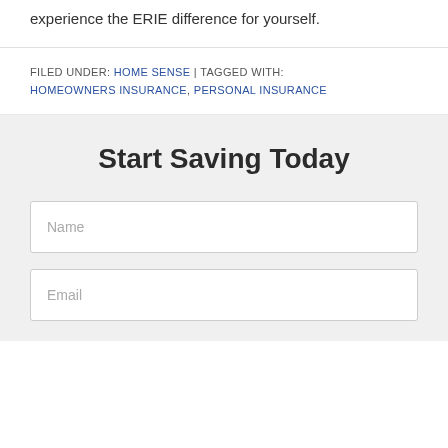experience the ERIE difference for yourself.
FILED UNDER: HOME SENSE | TAGGED WITH: HOMEOWNERS INSURANCE, PERSONAL INSURANCE
Start Saving Today
Name
Email